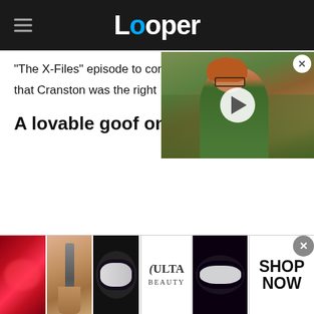Looper
"The X-Files" episode to convince AMC executives that Cranston was the right
[Figure (screenshot): Video thumbnail showing a curly red-haired boy wearing glasses in a school setting, with a white circular play button overlay. A small close (X) button appears in the top right corner.]
A lovable goof on Malc
[Figure (screenshot): Advertisement banner for ULTA Beauty featuring close-up makeup images: lips with red lipstick, a makeup brush, eye with dramatic makeup, ULTA Beauty logo, and eye with dark eye makeup. A 'SHOP NOW' call to action appears on the right with a close X button.]